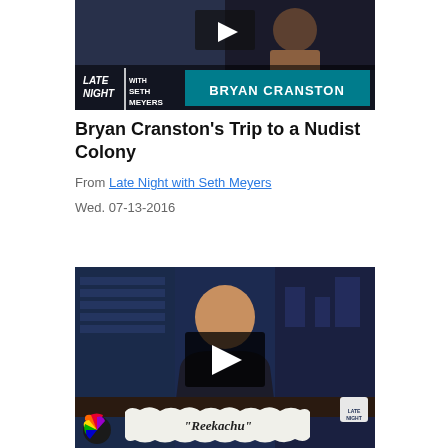[Figure (screenshot): Video thumbnail for Late Night with Seth Meyers featuring Bryan Cranston. Dark background with show logo on left and 'BRYAN CRANSTON' teal banner on right.]
Bryan Cranston's Trip to a Nudist Colony
From Late Night with Seth Meyers
Wed. 07-13-2016
[Figure (screenshot): Video thumbnail for Late Night with Seth Meyers showing host at desk with play button overlay and torn paper banner reading "Reekachu" with NBC peacock logo in bottom left.]